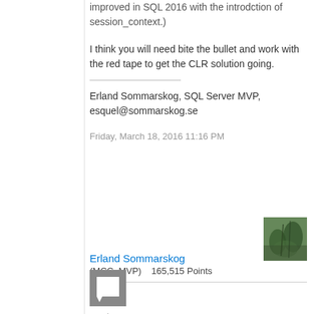improved in SQL 2016 with the introdction of session_context.)
I think you will need bite the bullet and work with the red tape to get the CLR solution going.
Erland Sommarskog, SQL Server MVP, esquel@sommarskog.se
Friday, March 18, 2016 11:16 PM
[Figure (photo): Small profile photo of a wooded path]
Erland Sommarskog (MCC, MVP)    165,515 Points
[Figure (illustration): Comment/message icon (grey square with speech bubble)]
[Figure (illustration): Upward pointing triangle/arrow icon]